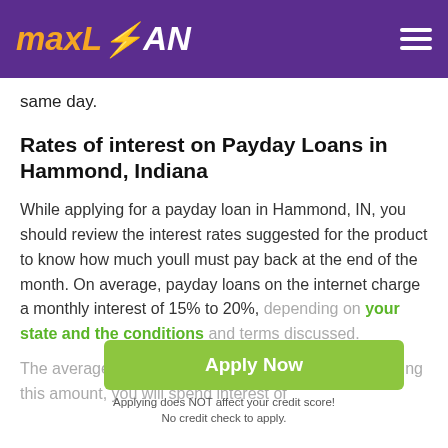maxLOAN
same day.
Rates of interest on Payday Loans in Hammond, Indiana
While applying for a payday loan in Hammond, IN, you should review the interest rates suggested for the product to know how much youll must pay back at the end of the month. On average, payday loans on the internet charge a monthly interest of 15% to 20%, depending on your state and the conditions and terms discussed.
The average payday loan is $375; when youre borrowing this amount, you will spend interest of
Apply Now
Applying does NOT affect your credit score!
No credit check to apply.